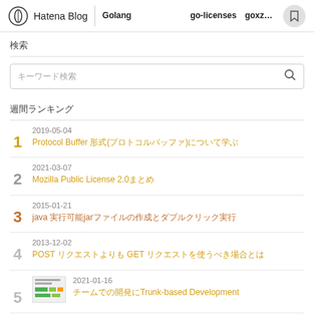Hatena Blog  Golang　　　　　　　go-licenses　goxz　...
検索
キーワード検索
週間ランキング
1  2019-05-04  Protocol Buffer 形式(プロトコルバッファ)について学ぶ
2  2021-03-07  Mozilla Public License 2.0まとめ
3  2015-01-21  java 実行可能jarファイルの作成とダブルクリック実行
4  2013-12-02  POST リクエストよりも GET リクエストを使うべき場合とは
5  2021-01-16  チームでの開発にTrunk-based Development